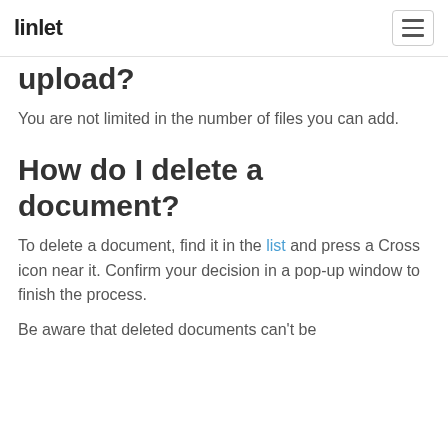linlet
upload?
You are not limited in the number of files you can add.
How do I delete a document?
To delete a document, find it in the list and press a Cross icon near it. Confirm your decision in a pop-up window to finish the process.
Be aware that deleted documents can't be